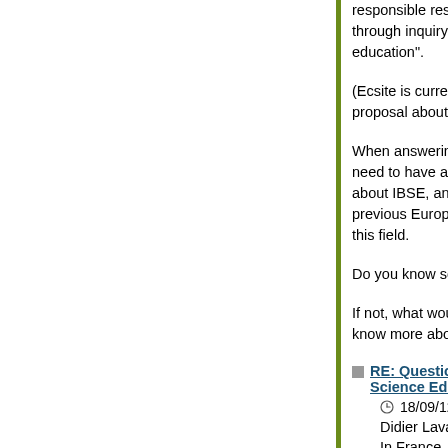responsible resea through inquiry ba education".
(Ecsite is currently proposal about it.)
When answering s need to have a ba about IBSE, and a previous Europea this field.
Do you know som
If not, what would know more about
RE: Question 3 - Science Education
18/09/12 15:52
Didier Laval
In France, some m disseminated by th